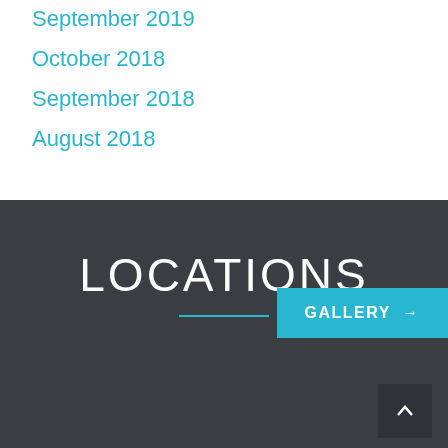September 2019
October 2018
September 2018
August 2018
LOCATIONS
GALLERY →